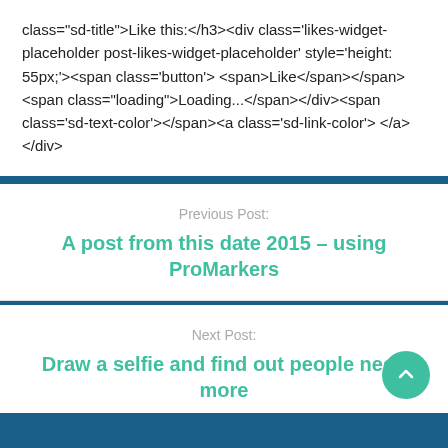class="sd-title">Like this:</h3><div class='likes-widget-placeholder post-likes-widget-placeholder' style='height: 55px;'><span class='button'><span>Like</span></span> <span class="loading">Loading...</span></div><span class='sd-text-color'></span><a class='sd-link-color'></a></div>
Previous Post:
A post from this date 2015 – using ProMarkers
Next Post:
Draw a selfie and find out people need more